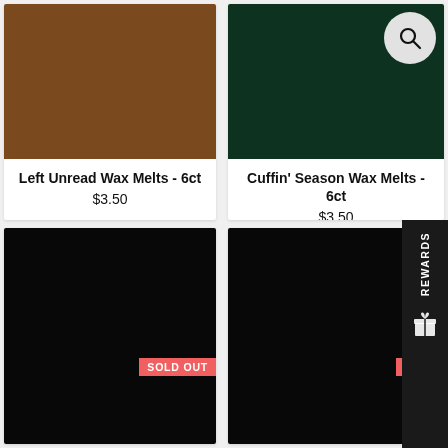[Figure (photo): Brown colored product image for Left Unread Wax Melts]
Left Unread Wax Melts - 6ct
$3.50
[Figure (photo): Dark green colored product image for Cuffin' Season Wax Melts with search icon overlay]
Cuffin' Season Wax Melts - 6ct
$3.50
[Figure (photo): Black product image with SOLD OUT badge]
[Figure (photo): Black product image with SOLD badge (partially visible)]